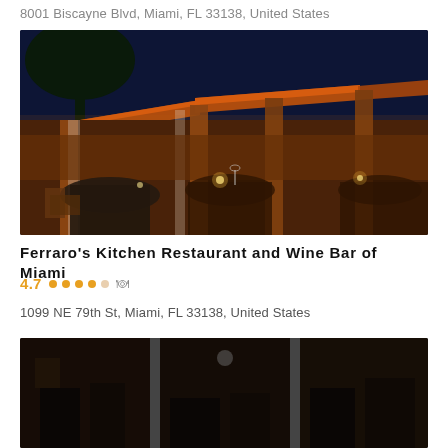8001 Biscayne Blvd, Miami, FL 33138, United States
[Figure (photo): Outdoor restaurant patio at night with warm orange-lit gazebo structures, tables with dark tablecloths, and ambient candle lighting]
Ferraro's Kitchen Restaurant and Wine Bar of Miami
4.7  ....
1099 NE 79th St, Miami, FL 33138, United States
[Figure (photo): Partial view of another restaurant or venue, shown at the bottom of the page]